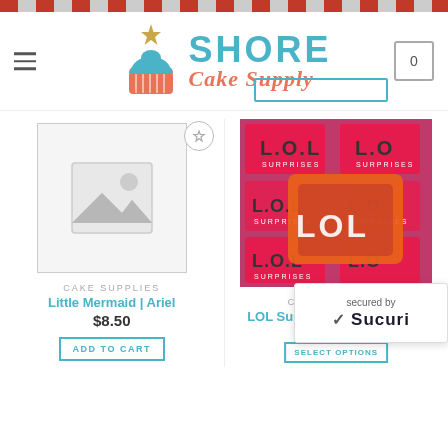[Figure (screenshot): Shore Cake Supply website header with logo (cupcake icon with star, SHORE in teal, Cake Supply in orange italic), hamburger menu icon on left, cart icon with 0 on right, and a teal search bar area]
[Figure (photo): Placeholder image icon (no product image available) for Little Mermaid Ariel cake supply]
CAKE SUPPLIES
Little Mermaid | Ariel
$8.50
ADD TO CART
[Figure (photo): Photo of LOL Surprise cookie cutter in orange plastic, shown on top of LOL Surprises branded packaging with pink and white dotted logo pattern]
CAKE SUPPLIES
LOL Surprise | Cookie Cutter
[Figure (other): Sucuri security badge showing checkmark, 'secured by' text, and Sucuri logo in dark bold font]